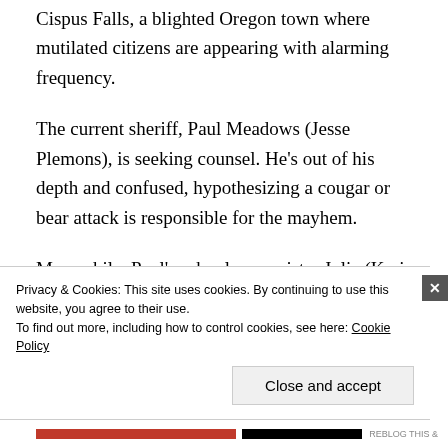Cispus Falls, a blighted Oregon town where mutilated citizens are appearing with alarming frequency.
The current sheriff, Paul Meadows (Jesse Plemons), is seeking counsel. He’s out of his depth and confused, hypothesizing a cougar or bear attack is responsible for the mayhem.
Meanwhile, Paul’s schoolmarm sister Julia (Keri Russell) is trying to figure out why her sullen
Privacy & Cookies: This site uses cookies. By continuing to use this website, you agree to their use.
To find out more, including how to control cookies, see here: Cookie Policy